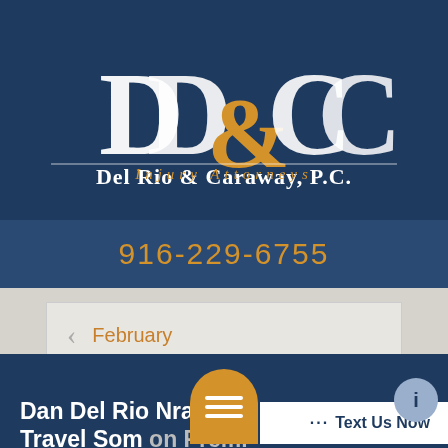[Figure (logo): Del Rio & Caraway, P.C. Injury Attorneys law firm logo with stylized DD&CC monogram in white and gold on dark navy background]
916-229-6755
February
Dan Del Rio Narrates ... Travel Some... on Premises...